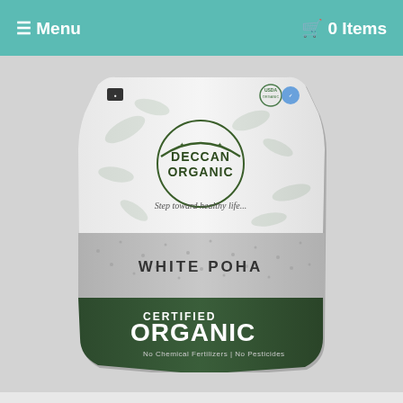☰ Menu   🛒 0 Items
[Figure (photo): Product packaging photo of Deccan Organic White Poha. The bag has a white upper half with a botanical leaf pattern and the Deccan Organic logo with tagline 'Step toward healthy life...'. The lower half is dark olive green with text 'WHITE POHA', 'CERTIFIED ORGANIC', and 'No Chemical Fertilizers | No Pesticides'.]